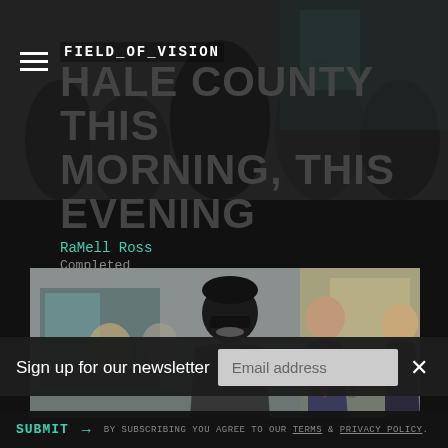FIELD_OF_VISION
HALE COUNTY THIS MORNING, THIS EVENING
RaMell Ross
Completed
[Figure (photo): Group of people outdoors near a building; a central figure wearing a black beanie and sunglasses with a large mustache, in a dark pinstripe suit, surrounded by people including a man in a suit with a red tie holding a microphone]
Sign up for our newsletter
Email address
SUBMIT → BY SUBSCRIBING YOU AGREE TO OUR TERMS & PRIVACY POLICY.